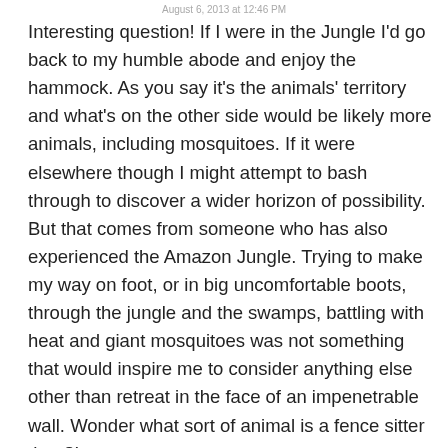August 6, 2013 at 12:46 PM
Interesting question! If I were in the Jungle I'd go back to my humble abode and enjoy the hammock. As you say it's the animals' territory and what's on the other side would be likely more animals, including mosquitoes. If it were elsewhere though I might attempt to bash through to discover a wider horizon of possibility. But that comes from someone who has also experienced the Amazon Jungle. Trying to make my way on foot, or in big uncomfortable boots, through the jungle and the swamps, battling with heat and giant mosquitoes was not something that would inspire me to consider anything else other than retreat in the face of an impenetrable wall. Wonder what sort of animal is a fence sitter then?!